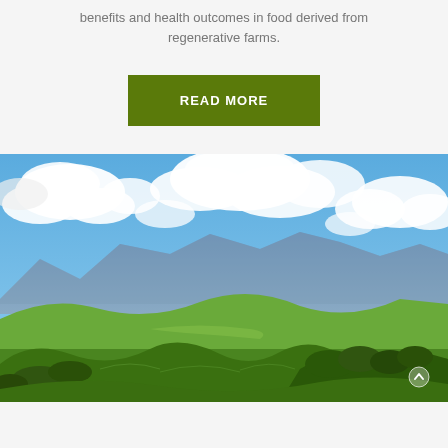benefits and health outcomes in food derived from regenerative farms.
[Figure (other): Green READ MORE button on light gray background]
[Figure (photo): Aerial landscape photo of rolling green hills with trees, blue mountain range in background, and partly cloudy blue sky. Lush regenerative farmland scenery.]